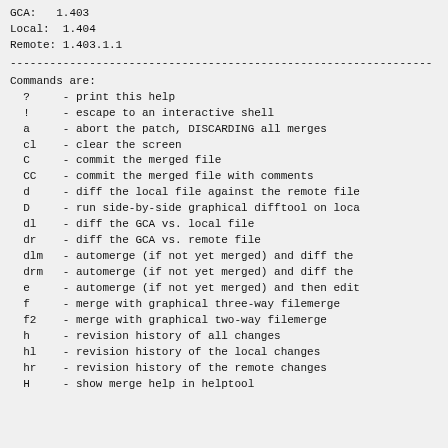GCA:   1.403
Local:  1.404
Remote: 1.403.1.1
----------------------------------------------------------------
Commands are:
?     - print this help
!     - escape to an interactive shell
a     - abort the patch, DISCARDING all merges
cl    - clear the screen
C     - commit the merged file
CC    - commit the merged file with comments
d     - diff the local file against the remote file
D     - run side-by-side graphical difftool on loca
dl    - diff the GCA vs. local file
dr    - diff the GCA vs. remote file
dlm   - automerge (if not yet merged) and diff the
drm   - automerge (if not yet merged) and diff the
e     - automerge (if not yet merged) and then edit
f     - merge with graphical three-way filemerge
f2    - merge with graphical two-way filemerge
h     - revision history of all changes
hl    - revision history of the local changes
hr    - revision history of the remote changes
H     - show merge help in helptool